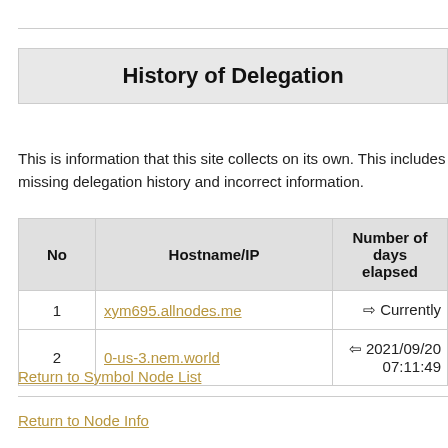History of Delegation
This is information that this site collects on its own. This includes missing delegation history and incorrect information.
| No | Hostname/IP | Number of days elapsed |
| --- | --- | --- |
| 1 | xym695.allnodes.me | ⇨ Currently |
| 2 | 0-us-3.nem.world | ⇦ 2021/09/20 07:11:49 |
Return to Symbol Node List
Return to Node Info